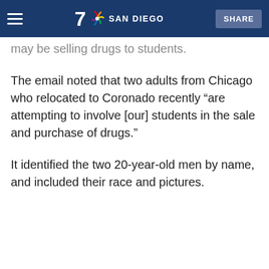7 SAN DIEGO | SHARE
may be selling drugs to students.
The email noted that two adults from Chicago who relocated to Coronado recently “are attempting to involve [our] students in the sale and purchase of drugs.”
It identified the two 20-year-old men by name, and included their race and pictures.